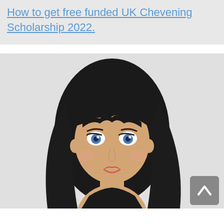How to get free funded UK Chevening Scholarship 2022.
[Figure (illustration): Cartoon illustration of a young woman with long black hair, blue eyes, and a slight smile, shown from the shoulders up against a light grey background. A grey scroll-to-top button with an upward chevron arrow is overlaid in the bottom-right corner.]